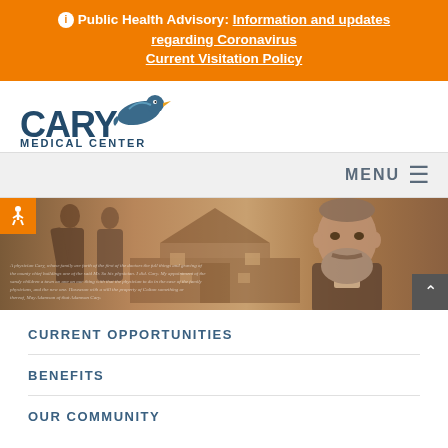ⓘ Public Health Advisory: Information and updates regarding Coronavirus Current Visitation Policy
[Figure (logo): Cary Medical Center logo with bird and text]
MENU ☰
[Figure (photo): Sepia-toned hero banner with historical photos of people and a building, with handwritten text overlay and accessibility and scroll-to-top buttons]
CURRENT OPPORTUNITIES
BENEFITS
OUR COMMUNITY